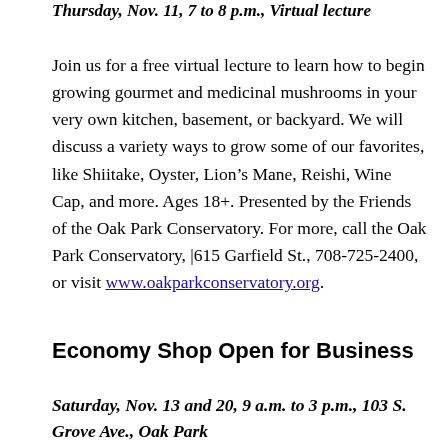Thursday, Nov. 11, 7 to 8 p.m., Virtual lecture
Join us for a free virtual lecture to learn how to begin growing gourmet and medicinal mushrooms in your very own kitchen, basement, or backyard. We will discuss a variety ways to grow some of our favorites, like Shiitake, Oyster, Lion’s Mane, Reishi, Wine Cap, and more. Ages 18+. Presented by the Friends of the Oak Park Conservatory. For more, call the Oak Park Conservatory, |615 Garfield St., 708-725-2400, or visit www.oakparkconservatory.org.
Economy Shop Open for Business
Saturday, Nov. 13 and 20, 9 a.m. to 3 p.m., 103 S. Grove Ave., Oak Park